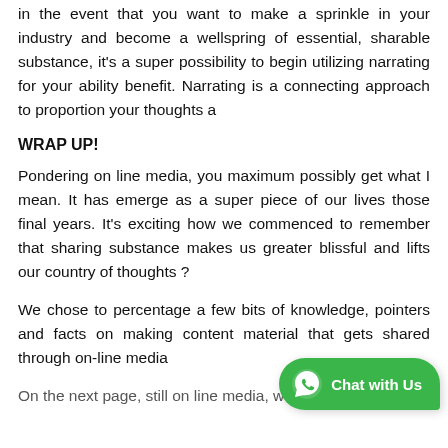in the event that you want to make a sprinkle in your industry and become a wellspring of essential, sharable substance, it's a super possibility to begin utilizing narrating for your ability benefit. Narrating is a connecting approach to proportion your thoughts a
WRAP UP!
Pondering on line media, you maximum possibly get what I mean. It has emerge as a super piece of our lives those final years. It's exciting how we commenced to remember that sharing substance makes us greater blissful and lifts our country of thoughts ?
We chose to percentage a few bits of knowledge, pointers and facts on making content material that gets shared through on-line media
On the next page, still on line media, we discuss...
[Figure (other): Green WhatsApp-style Chat with Us button in bottom-right corner]